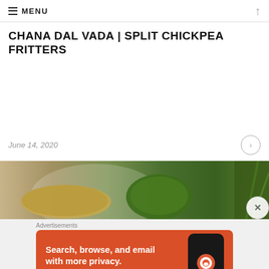MENU
CHANA DAL VADA | SPLIT CHICKPEA FRITTERS
June 14, 2020
[Figure (photo): Food photo showing chana dal vada fritters on a white plate with green chutney, and a plant in background]
Advertisements
[Figure (screenshot): DuckDuckGo advertisement banner: Search, browse, and email with more privacy. All in One Free App. Shows DuckDuckGo app on phone.]